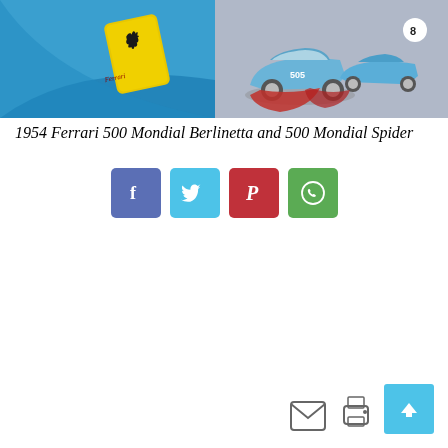[Figure (photo): Left half: close-up of Ferrari badge/logo on blue car body with curved blue decorative shape. Right half: two vintage 1954 Ferrari 500 Mondial cars in blue, parked in a studio setting with a red cloth on the ground.]
1954 Ferrari 500 Mondial Berlinetta and 500 Mondial Spider
[Figure (infographic): Four social media share buttons: Facebook (dark blue), Twitter (light blue), Pinterest (red), WhatsApp (green), each with respective icon in white.]
[Figure (infographic): Bottom right corner: email icon, print icon, and a light blue scroll-to-top button with upward arrow.]